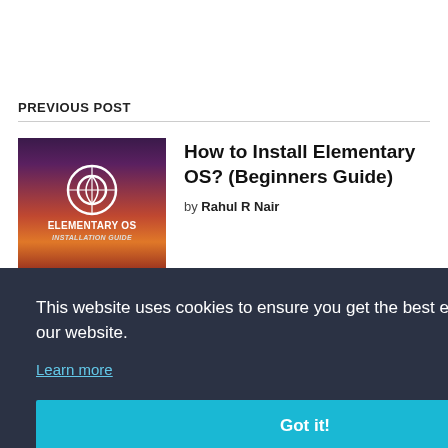PREVIOUS POST
[Figure (illustration): Elementary OS Installation Guide book cover thumbnail with circular logo on gradient purple/orange background]
How to Install Elementary OS? (Beginners Guide)
by Rahul R Nair
This website uses cookies to ensure you get the best experience on our website.
Learn more
Got it!